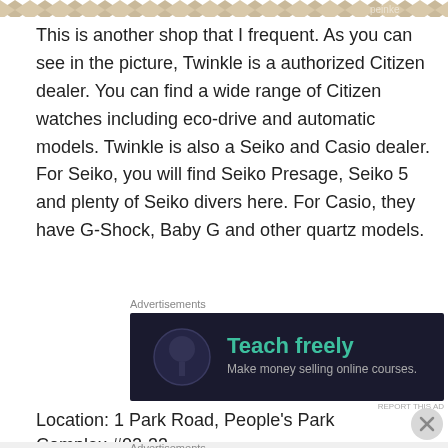[Figure (photo): Top strip showing a decorative rug or carpet with diamond/chevron pattern in beige and brown tones, with a watermark visible on the right side]
This is another shop that I frequent. As you can see in the picture, Twinkle is a authorized Citizen dealer. You can find a wide range of Citizen watches including eco-drive and automatic models. Twinkle is also a Seiko and Casio dealer. For Seiko, you will find Seiko Presage, Seiko 5 and plenty of Seiko divers here. For Casio, they have G-Shock, Baby G and other quartz models.
[Figure (screenshot): Advertisement banner with dark navy background. Left side shows a circular icon with a tree/person silhouette. Text reads 'Teach freely' in teal/green and 'Make money selling online courses.' in lighter color.]
Location: 1 Park Road, People's Park Complex #02-33,
[Figure (screenshot): Advertisement banner with orange/red background on left side reading 'Search, browse, and email with more privacy. All in One Free App' and right side showing DuckDuckGo logo on dark background.]